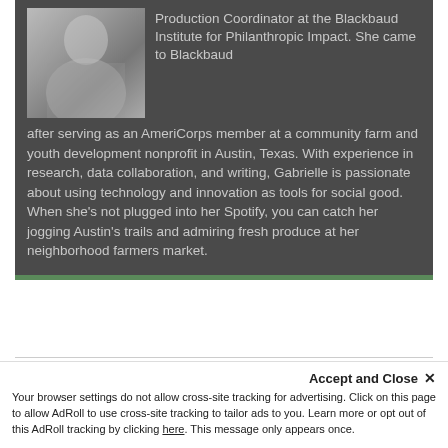[Figure (photo): Black and white photo of a woman, partially visible, cropped at top of page]
Production Coordinator at the Blackbaud Institute for Philanthropic Impact. She came to Blackbaud after serving as an AmeriCorps member at a community farm and youth development nonprofit in Austin, Texas. With experience in research, data collaboration, and writing, Gabrielle is passionate about using technology and innovation as tools for social good. When she's not plugged into her Spotify, you can catch her jogging Austin's trails and admiring fresh produce at her neighborhood farmers market.
Accept and Close ✕
Your browser settings do not allow cross-site tracking for advertising. Click on this page to allow AdRoll to use cross-site tracking to tailor ads to you. Learn more or opt out of this AdRoll tracking by clicking here. This message only appears once.